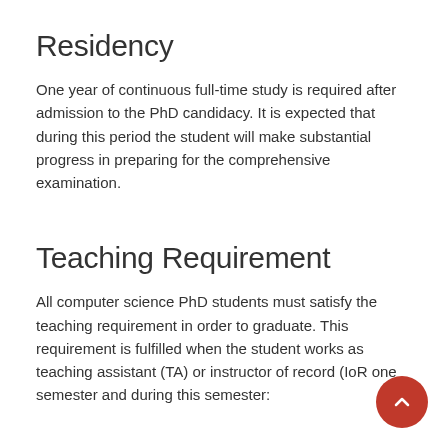Residency
One year of continuous full-time study is required after admission to the PhD candidacy. It is expected that during this period the student will make substantial progress in preparing for the comprehensive examination.
Teaching Requirement
All computer science PhD students must satisfy the teaching requirement in order to graduate. This requirement is fulfilled when the student works as teaching assistant (TA) or instructor of record (IoR one semester and during this semester: